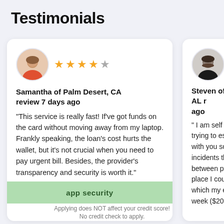Testimonials
[Figure (photo): Profile photo of Samantha, a woman]
Samantha of Palm Desert, CA review 7 days ago
"This service is really fast! If've got funds on the card without moving away from my laptop. Frankly speaking, the loan's cost hurts the wallet, but it's not crucial when you need to pay urgent bill. Besides, the provider's transparency and security is worth it."
[Figure (photo): Profile photo of Steven, a man]
Steven of Toney, AL r ago
" I am self employed trying to establish a with you so when th incidents that actua between pay period a place I could go t which my employee week ($2000). I wen
Applying does NOT affect your credit score!
No credit check to apply.